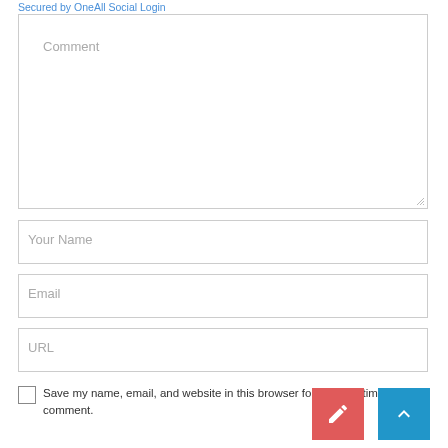Secured by OneAll Social Login
[Figure (screenshot): Comment text area input field]
[Figure (screenshot): Your Name input field]
[Figure (screenshot): Email input field]
[Figure (screenshot): URL input field]
Save my name, email, and website in this browser for the next time I comment.